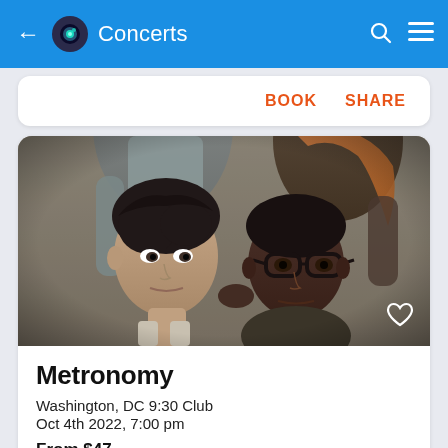← Concerts
BOOK   SHARE
[Figure (photo): Band photo showing four members: two in foreground (one white male with dark hair, one Black male with glasses), two in background (taller figures partially visible). Black and white/muted tones.]
Metronomy
Washington, DC 9:30 Club
Oct 4th 2022, 7:00 pm
From $47